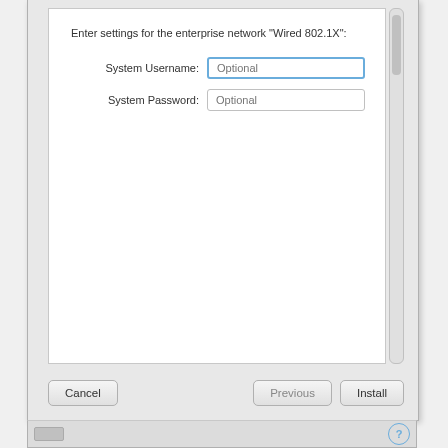[Figure (screenshot): macOS dialog box for enterprise network configuration titled 'Wired 802.1X'. Contains two input fields: System Username (focused, with blue border, placeholder 'Optional') and System Password (placeholder 'Optional'). Buttons at bottom: Cancel, Previous (grayed), Install. A scrollbar is visible on the right side. A bottom toolbar with a help (?) button is shown below the dialog.]